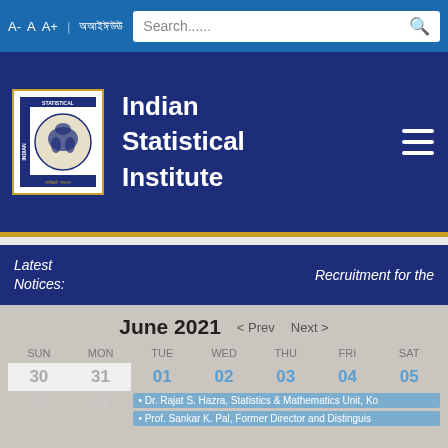A- A A+ [hindi] Search......
Indian Statistical Institute
Latest Notices: Recruitment for the
[Figure (other): June 2021 calendar showing days SUN MON TUE WED THU FRI SAT with dates 30, 31, 01-05 visible. Events listed: Dr. Rajat S. Hazra, Statistics & Mathematics Unit, Ko and Prof. Sankar K. Pal, Former Director and Distinguis]
June 2021 < Prev Next >